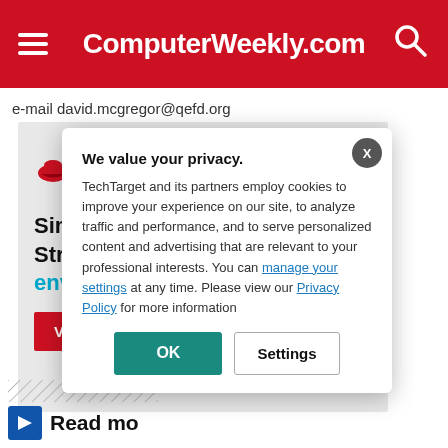ComputerWeekly.com
e-mail david.mcgregor@qefd.org
[Figure (screenshot): Red Hat advertisement banner with Red Hat logo, cloud icon, headline partially visible: 'Simp... Stren... envir...', and a red 'View S...' button]
We value your privacy.
TechTarget and its partners employ cookies to improve your experience on our site, to analyze traffic and performance, and to serve personalized content and advertising that are relevant to your professional interests. You can manage your settings at any time. Please view our Privacy Policy for more information
Read mo...